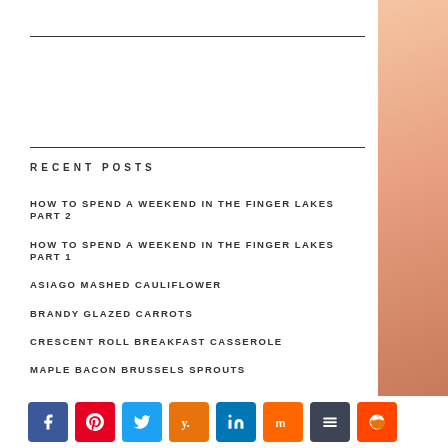RECENT POSTS
HOW TO SPEND A WEEKEND IN THE FINGER LAKES PART 2
HOW TO SPEND A WEEKEND IN THE FINGER LAKES PART 1
ASIAGO MASHED CAULIFLOWER
BRANDY GLAZED CARROTS
CRESCENT ROLL BREAKFAST CASSEROLE
MAPLE BACON BRUSSELS SPROUTS